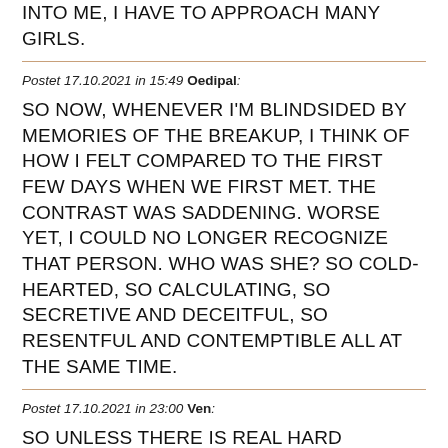INTO ME, I HAVE TO APPROACH MANY GIRLS.
Postet 17.10.2021 in 15:49 Oedipal: SO NOW, WHENEVER I'M BLINDSIDED BY MEMORIES OF THE BREAKUP, I THINK OF HOW I FELT COMPARED TO THE FIRST FEW DAYS WHEN WE FIRST MET. THE CONTRAST WAS SADDENING. WORSE YET, I COULD NO LONGER RECOGNIZE THAT PERSON. WHO WAS SHE? SO COLD-HEARTED, SO CALCULATING, SO SECRETIVE AND DECEITFUL, SO RESENTFUL AND CONTEMPTIBLE ALL AT THE SAME TIME.
Postet 17.10.2021 in 23:00 Ven: SO UNLESS THERE IS REAL HARD EVIDENCE, MANY WILL CHOOSE TO BELIEVE THEIR PARTNER AS IT IS TOO DIFFICULT NOT TO